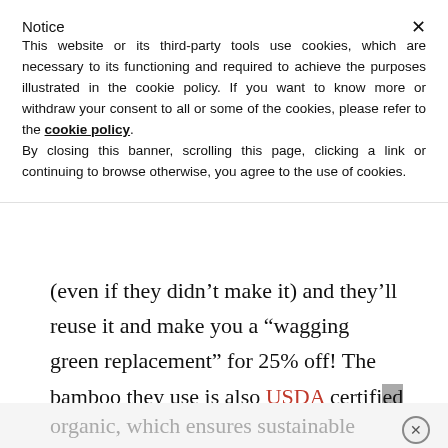Notice
This website or its third-party tools use cookies, which are necessary to its functioning and required to achieve the purposes illustrated in the cookie policy. If you want to know more or withdraw your consent to all or some of the cookies, please refer to the cookie policy. By closing this banner, scrolling this page, clicking a link or continuing to browse otherwise, you agree to the use of cookies.
(even if they didn’t make it) and they’ll reuse it and make you a “wagging green replacement” for 25% off! The bamboo they use is also USDA certified organic, which ensures sustainable